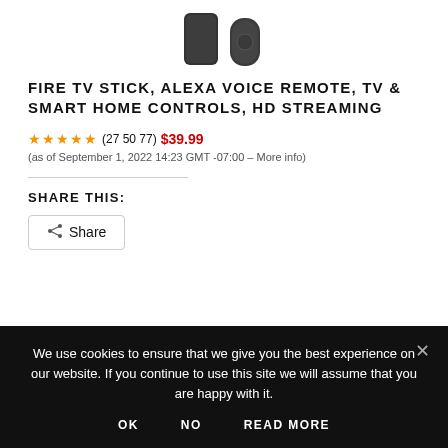[Figure (photo): Partial view of two Amazon Fire TV Stick devices against a white background, cropped at top of page]
FIRE TV STICK, ALEXA VOICE REMOTE, TV & SMART HOME CONTROLS, HD STREAMING
★★★★★ (27 50 77)  $39.99  (as of September 1, 2022 14:23 GMT -07:00 – More info)
SHARE THIS:
Share
We use cookies to ensure that we give you the best experience on our website. If you continue to use this site we will assume that you are happy with it.
OK   NO   READ MORE